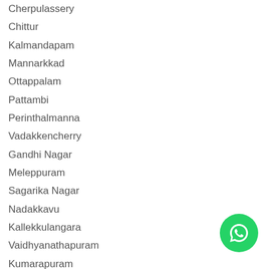Cherpulassery
Chittur
Kalmandapam
Mannarkkad
Ottappalam
Pattambi
Perinthalmanna
Vadakkencherry
Gandhi Nagar
Meleppuram
Sagarika Nagar
Nadakkavu
Kallekkulangara
Vaidhyanathapuram
Kumarapuram
Nerukakkad